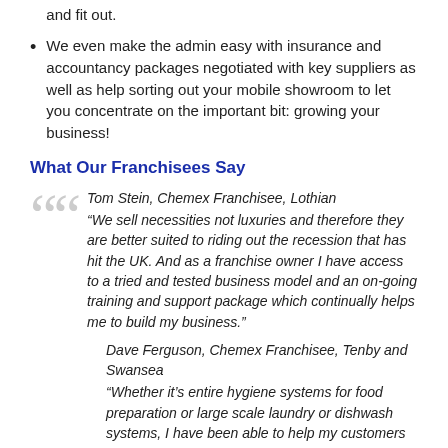and fit out.
We even make the admin easy with insurance and accountancy packages negotiated with key suppliers as well as help sorting out your mobile showroom to let you concentrate on the important bit: growing your business!
What Our Franchisees Say
Tom Stein, Chemex Franchisee, Lothian
“We sell necessities not luxuries and therefore they are better suited to riding out the recession that has hit the UK. And as a franchise owner I have access to a tried and tested business model and an on-going training and support package which continually helps me to build my business.”
Dave Ferguson, Chemex Franchisee, Tenby and Swansea
“Whether it’s entire hygiene systems for food preparation or large scale laundry or dishwash systems, I have been able to help my customers